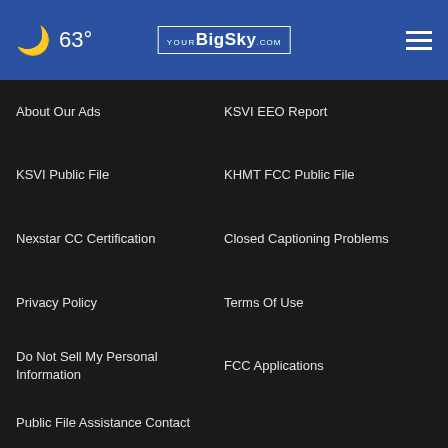63° YourBigSky.com
About Our Ads
KSVI EEO Report
KSVI Public File
KHMT FCC Public File
Nexstar CC Certification
Closed Captioning Problems
Privacy Policy
Terms Of Use
Do Not Sell My Personal Information
FCC Applications
Public File Assistance Contact
The Hill
BestReviews
Content Licensing
[Figure (screenshot): Advertisement banner: Listen to the new podcast about adoption. AdoptUSKids logo and ad badge.]